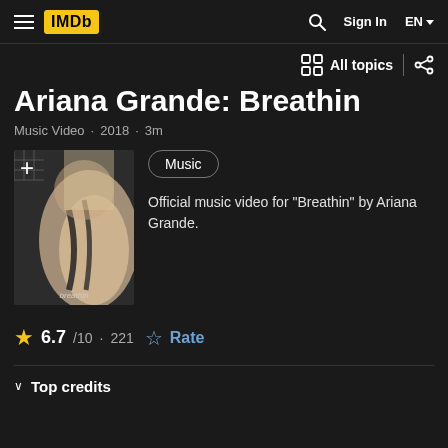IMDb  Sign In  EN
Ariana Grande: Breathin
Music Video · 2018 · 3m
[Figure (photo): Album cover thumbnail for Breathin by Ariana Grande with a + icon and label 'breathin']
Music
Official music video for "Breathin" by Ariana Grande.
6.7/10 · 221  Rate
Top credits